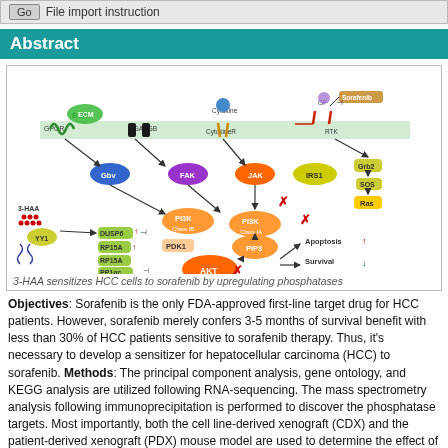Go File import instruction
Abstract
[Figure (illustration): Signaling pathway diagram showing 3-HAA sensitizes HCC cells to sorafenib by upregulating phosphatases. Includes ECM, GPCR, ITGA, ITGB, Cytokine, CytokineR, GF, RTK, Sorafenib, Gbv, FAK, JAK, IRS1, Grb2, SOS, Ras, PI3K Class IB, PI3K Class IA, PIP3, 3-HAA, YY1, DUSP6, RP15A, PP1ac, PDK1, AKT, Apoptosis, Survival nodes with arrows and inhibitory marks.]
3-HAA sensitizes HCC cells to sorafenib by upregulating phosphatases
Objectives: Sorafenib is the only FDA-approved first-line target drug for HCC patients. However, sorafenib merely confers 3-5 months of survival benefit with less than 30% of HCC patients sensitive to sorafenib therapy. Thus, it's necessary to develop a sensitizer for hepatocellular carcinoma (HCC) to sorafenib. Methods: The principal component analysis, gene ontology, and KEGG analysis are utilized following RNA-sequencing. The mass spectrometry analysis following immunoprecipitation is performed to discover the phosphatase targets. Most importantly, both the cell line-derived xenograft (CDX) and the patient-derived xenograft (PDX) mouse model are used to determine the effect of 3-HAA on sorafenib-resistant HCC in vivo. Results: In nude mice carrying HCC xenograft, tumor growth